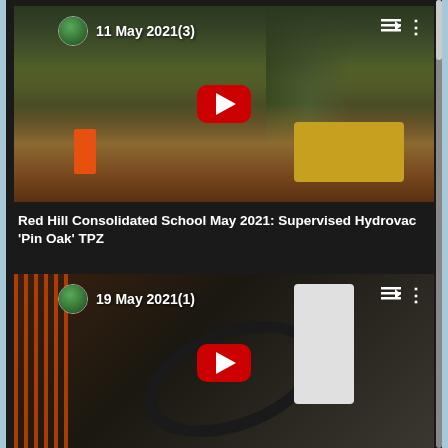[Figure (screenshot): YouTube video thumbnail showing construction/tree clearing site with worker in orange hi-vis and yellow excavator machinery. Timestamp overlay reads '11 May 2021(3)' with avatar, playlist and menu icons top right.]
Red Hill Consolidated School May 2021: Supervised Hydrovac 'Pin Oak' TPZ
[Figure (screenshot): YouTube video thumbnail showing hydrovac operation with large hoses and worker in white protective suit. Orange safety fencing visible on left. Timestamp overlay reads '19 May 2021(1)' with avatar, playlist and menu icons top right.]